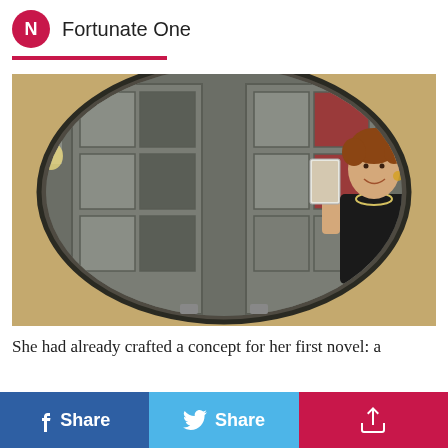Fortunate One
[Figure (photo): A woman taking a mirror selfie in a round mirror, holding a card, smiling, wearing a black top and necklace. The mirror reflects French doors and artwork on the wall in a warm-toned room.]
She had already crafted a concept for her first novel: a
f Share   Share   [share icon]